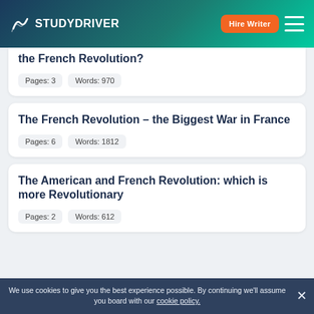STUDYDRIVER — Hire Writer
the French Revolution?
Pages: 3  Words: 970
The French Revolution – the Biggest War in France
Pages: 6  Words: 1812
The American and French Revolution: which is more Revolutionary
Pages: 2  Words: 612
We use cookies to give you the best experience possible. By continuing we'll assume you board with our cookie policy.